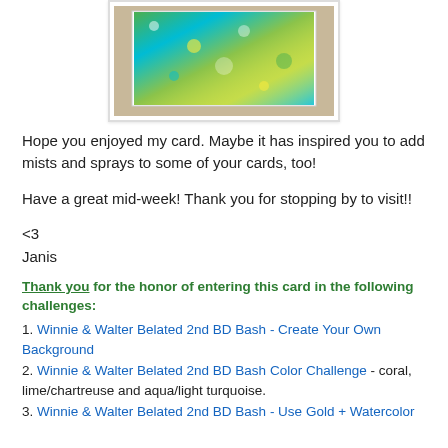[Figure (photo): Photo of a handmade card with colorful green, teal, and yellow background, placed on a beige surface.]
Hope you enjoyed my card. Maybe it has inspired you to add mists and sprays to some of your cards, too!
Have a great mid-week! Thank you for stopping by to visit!!
<3
Janis
Thank you for the honor of entering this card in the following challenges:
1. Winnie & Walter Belated 2nd BD Bash - Create Your Own Background
2. Winnie & Walter Belated 2nd BD Bash Color Challenge - coral, lime/chartreuse and aqua/light turquoise.
3. Winnie & Walter Belated 2nd BD Bash - Use Gold + Watercolor